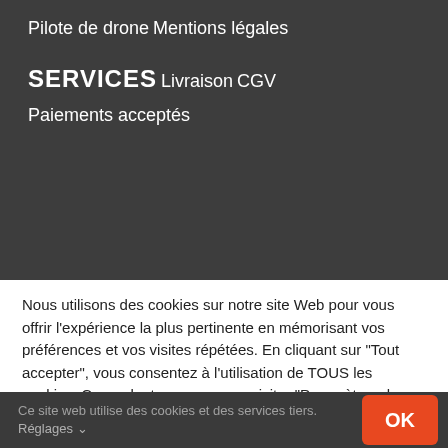Pilote de drone
Mentions légales
SERVICES
Livraison
CGV
Paiements acceptés
Nous utilisons des cookies sur notre site Web pour vous offrir l'expérience la plus pertinente en mémorisant vos préférences et vos visites répétées. En cliquant sur "Tout accepter", vous consentez à l'utilisation de TOUS les cookies. Cependant, vous pouvez visiter "Paramètres des cookies" pour fournir un consentement contrôlé.
Ce site web utilise des cookies et des services tiers. Réglages ∨
OK